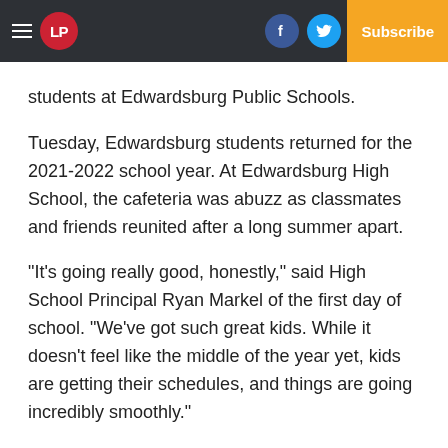LP | Log In | Subscribe
students at Edwardsburg Public Schools.
Tuesday, Edwardsburg students returned for the 2021-2022 school year. At Edwardsburg High School, the cafeteria was abuzz as classmates and friends reunited after a long summer apart.
“It’s going really good, honestly,” said High School Principal Ryan Markel of the first day of school. “We’ve got such great kids. While it doesn’t feel like the middle of the year yet, kids are getting their schedules, and things are going incredibly smoothly.”